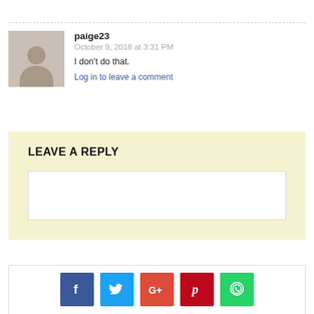paige23
October 9, 2018 at 3:31 PM
I don't do that.
Log in to leave a comment
LEAVE A REPLY
[Figure (other): Text input/comment reply textarea box]
[Figure (infographic): Social media share buttons: Facebook, Twitter, Google+, Pinterest, WhatsApp]